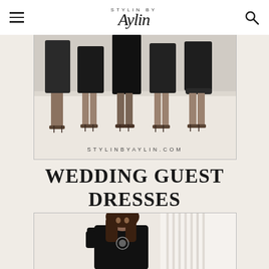STYLIN BY Aylin
[Figure (photo): Group photo showing legs and lower bodies of multiple women in black dresses and heeled sandals, with 'STYLINBYAYLIN.COM' text at bottom]
WEDDING GUEST DRESSES
[Figure (photo): Woman with long brown hair wearing a black outfit, looking down, standing near a white door or staircase]